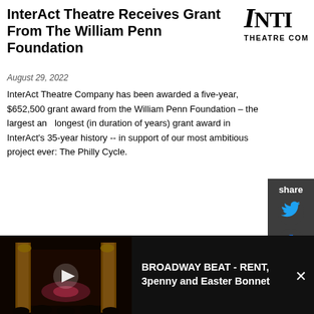InterAct Theatre Receives Grant From The William Penn Foundation
[Figure (logo): InterAct Theatre Company logo - top portion showing INTI letters with THEATRE CO text below]
August 29, 2022
InterAct Theatre Company has been awarded a five-year, $652,500 grant award from the William Penn Foundation – the largest and longest (in duration of years) grant award in InterAct's 35-year history -- in support of our most ambitious project ever: The Philly Cycle.
[Figure (infographic): Share panel with Twitter and Facebook icons on dark grey background]
HOW TO BE AN ETHICAL SLUT Announced At Adrienne Theater Main Stage
[Figure (photo): Photo of a woman smiling with thumbs up against dark blue background]
August 29, 2022
[Figure (screenshot): Bottom ad bar showing theatre seats in darkness with a play button and text: BROADWAY BEAT - RENT, 3penny and Easter Bonnet]